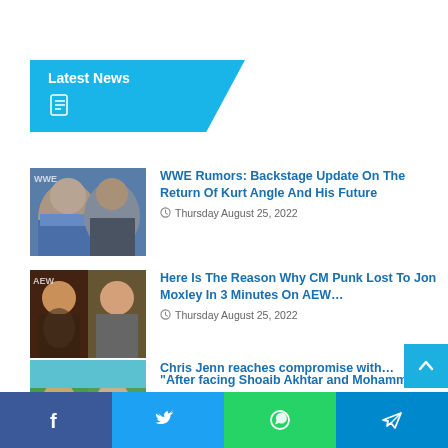Latest News
WWE Rumors: Backstage Update On The Return Of Kurt Angle And His Future
Thursday August 25, 2022
Here Is The Reason Why CM Punk Lost To Jon Moxley In 3 Minutes On AEW…
Thursday August 25, 2022
"After facing Shoaib Akhtar and Mohammad Sami, Abdul Razzaq felt…
Thursday August 25, 2022
Chris Jenn reaches compromise with…